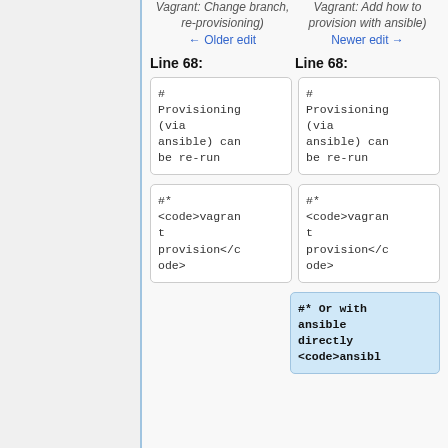Vagrant: Change branch, re-provisioning)
Vagrant: Add how to provision with ansible)
← Older edit
Newer edit →
Line 68:
Line 68:
# Provisioning (via ansible) can be re-run
# Provisioning (via ansible) can be re-run
#* <code>vagrant provision</code>
#* <code>vagrant provision</code>
#* Or with ansible directly <code>ansibl